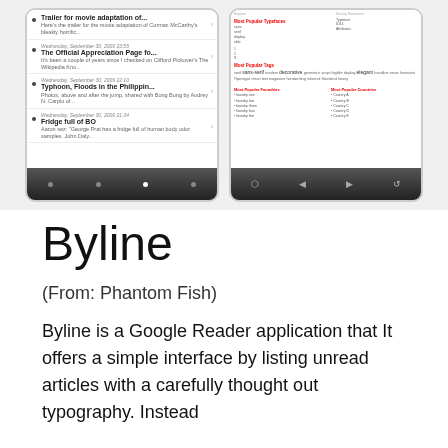[Figure (screenshot): Two smartphone screenshots side by side. Left shows a Google Reader feed with blog posts including 'Trailer for movie adaptation of...', 'The Official Appreciation Page fo...', 'Typhoon, Floods in the Philippin...', and 'Fridge full of BO' with dates and snippets. Right shows a typography/font explorer web page with tag clouds and font listings. Both frames show mobile navigation bars at the bottom.]
Byline
(From: Phantom Fish)
Byline is a Google Reader application that It offers a simple interface by listing unread articles with a carefully thought out typography. Instead